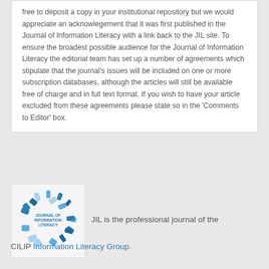free to deposit a copy in your institutional repository but we would appreciate an acknowlegement that it was first published in the Journal of Information Literacy with a link back to the JIL site. To ensure the broadest possible audience for the Journal of Information Literacy the editorial team has set up a number of agreements which stipulate that the journal's issues will be included on one or more subscription databases, although the articles will still be available free of charge and in full text format. If you wish to have your article excluded from these agreements please state so in the 'Comments to Editor' box.
[Figure (logo): Journal of Information Literacy logo — circular design with fragmented blue segments and text 'JOURNAL OF INFORMATION LITERACY']
JIL is the professional journal of the CILIP Information Literacy Group.